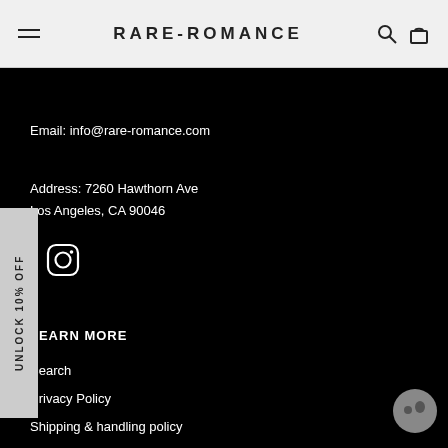RARE-ROMANCE
Email: info@rare-romance.com
Address: 7260 Hawthorn Ave
Los Angeles, CA 90046
[Figure (logo): Instagram icon]
LEARN MORE
Search
Privacy Policy
Shipping & handling policy
How KLARNA works
How ROUTE works